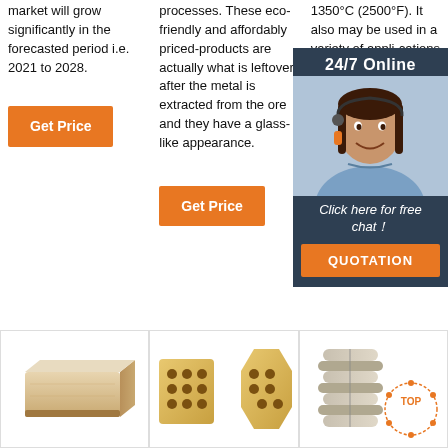market will grow significantly in the forecasted period i.e. 2021 to 2028.
processes. These eco-friendly and affordably priced-products are actually what is leftover after the metal is extracted from the ore and they have a glass-like appearance.
1350°C (2500°F). It also may be used in a variety of appli-cations in construction corrosion-resistant and other industries. COLUMN
[Figure (screenshot): 24/7 Online chat popup with agent photo, 'Click here for free chat!' text, and QUOTATION button]
[Figure (photo): Refractory brick - rectangular pale orange/tan brick]
[Figure (photo): Honeycomb refractory bricks - two hexagonal cross-section pieces]
[Figure (photo): Refractory shapes - cylindrical interlocking pieces with TOP badge overlay]